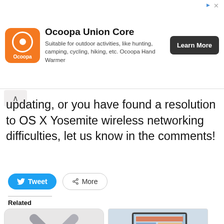[Figure (other): Advertisement banner for Ocoopa Union Core hand warmer product with orange logo, description text, and Learn More button]
updating, or you have found a resolution to OS X Yosemite wireless networking difficulties, let us know in the comments!
[Figure (other): Tweet and More social sharing buttons]
Related
[Figure (illustration): OS X 10.10 logo with X mark on rounded rectangle thumbnail]
[Figure (screenshot): OS X 10.10.2 Yosemite on iMac and MacBook screenshot thumbnail]
OS X 10.10.2 Beta 3
OS X 10.10.2 Yosemite